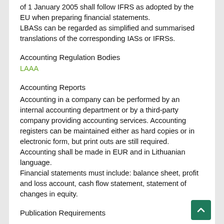of 1 January 2005 shall follow IFRS as adopted by the EU when preparing financial statements.
LBASs can be regarded as simplified and summarised translations of the corresponding IASs or IFRSs.
Accounting Regulation Bodies
LAAA
Accounting Reports
Accounting in a company can be performed by an internal accounting department or by a third-party company providing accounting services. Accounting registers can be maintained either as hard copies or in electronic form, but print outs are still required. Accounting shall be made in EUR and in Lithuanian language.
Financial statements must include: balance sheet, profit and loss account, cash flow statement, statement of changes in equity.
Publication Requirements